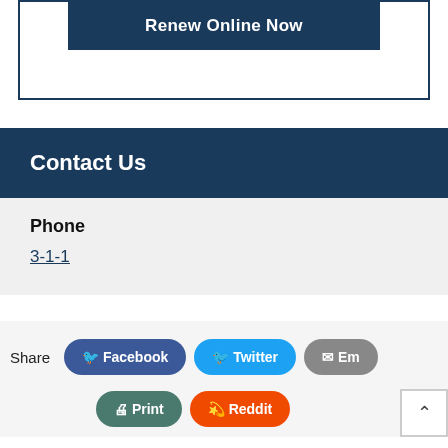Renew Online Now
Contact Us
Phone
3-1-1
Share  Facebook  Twitter  Email  Print  Reddit